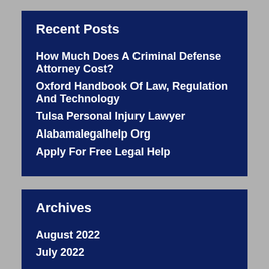Recent Posts
How Much Does A Criminal Defense Attorney Cost?
Oxford Handbook Of Law, Regulation And Technology
Tulsa Personal Injury Lawyer
Alabamalegalhelp Org
Apply For Free Legal Help
Archives
August 2022
July 2022